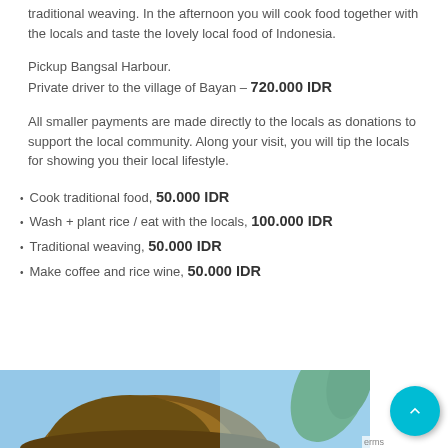traditional weaving. In the afternoon you will cook food together with the locals and taste the lovely local food of Indonesia.
Pickup Bangsal Harbour.
Private driver to the village of Bayan – 720.000 IDR
All smaller payments are made directly to the locals as donations to support the local community. Along your visit, you will tip the locals for showing you their local lifestyle.
Cook traditional food, 50.000 IDR
Wash + plant rice / eat with the locals, 100.000 IDR
Traditional weaving, 50.000 IDR
Make coffee and rice wine, 50.000 IDR
[Figure (photo): Photo of a local person (partial view, head/hat visible) with greenery in the background and blue sky.]